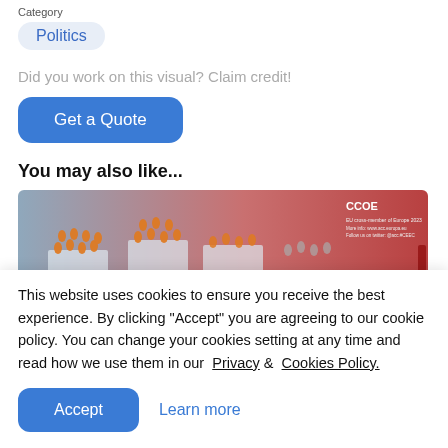Category
Politics
Did you work on this visual? Claim credit!
Get a Quote
You may also like...
[Figure (photo): Wide banner image showing 3D rendered figures of workers in orange vests on platforms, with a red gradient background on the right side and a logo/text in the upper right corner.]
This website uses cookies to ensure you receive the best experience. By clicking "Accept" you are agreeing to our cookie policy. You can change your cookies setting at any time and read how we use them in our Privacy & Cookies Policy.
Accept
Learn more